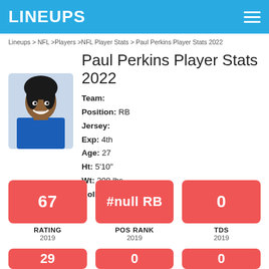LINEUPS
Lineups > NFL > Players > NFL Player Stats > Paul Perkins Player Stats 2022
Paul Perkins Player Stats 2022
Team:
Position: RB
Jersey:
Exp: 4th
Age: 27
Ht: 5'10"
Wt: 208 lbs
College: UCLA
[Figure (photo): Headshot photo of Paul Perkins in blue uniform]
| RATING | POS RANK | TDS |
| --- | --- | --- |
| 67 | #null RB | 0 |
| 2019 | 2019 | 2019 |
| RATING | POS RANK | TDS |
| --- | --- | --- |
| 29 | 0 | 0 |